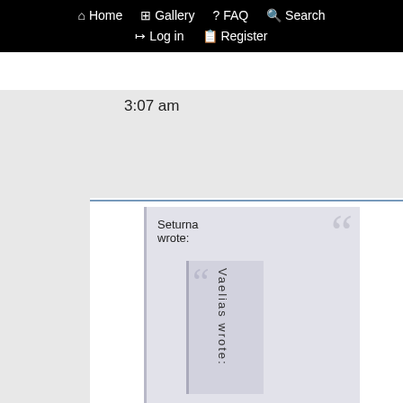Home  Gallery  FAQ  Search  Log in  Register
3:07 am
[Figure (photo): Circular avatar image of a dark armored fantasy character]
Vaelias
Seturna wrote:
Vaelias wrote: